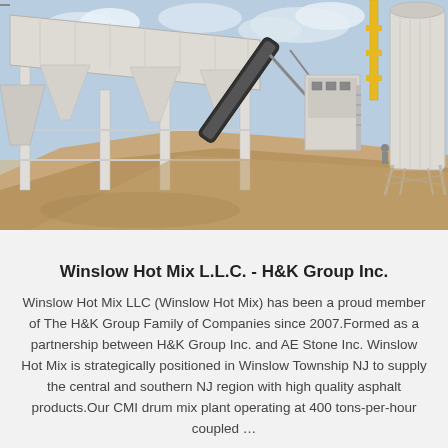[Figure (photo): Outdoor industrial asphalt/concrete mixing plant facility with large elevated hopper bins, conveyor belt, structural steel framing, and a tall cylindrical silo on the right. A large pile of sand/aggregate is visible in the foreground. Sky with clouds in background.]
Winslow Hot Mix L.L.C. - H&K Group Inc.
Winslow Hot Mix LLC (Winslow Hot Mix) has been a proud member of The H&K Group Family of Companies since 2007.Formed as a partnership between H&K Group Inc. and AE Stone Inc. Winslow Hot Mix is strategically positioned in Winslow Township NJ to supply the central and southern NJ region with high quality asphalt products.Our CMI drum mix plant operating at 400 tons-per-hour coupled …